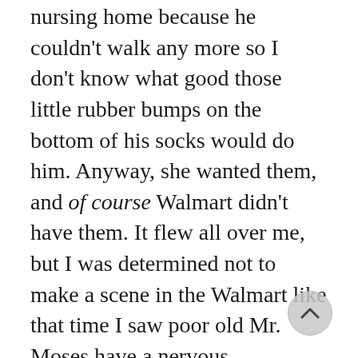nursing home because he couldn't walk any more so I don't know what good those little rubber bumps on the bottom of his socks would do him. Anyway, she wanted them, and of course Walmart didn't have them. It flew all over me, but I was determined not to make a scene in the Walmart like that time I saw poor old Mr. Moses have a nervous breakdown right there in front of everybody because he couldn't find the Campbell's tomato soup. You can't find anything in the Walmart I swear. Anyway, I was cussing my way out of the sock aisle, when I saw Makayla and some man all up in her face
[Figure (other): Circular scroll-up button with chevron/arrow icon, positioned bottom right]